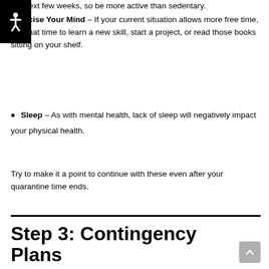Exercise Your Mind – If your current situation allows more free time, use that time to learn a new skill, start a project, or read those books sitting on your shelf.
Sleep – As with mental health, lack of sleep will negatively impact your physical health.
Try to make it a point to continue with these even after your quarantine time ends.
Step 3: Contingency Plans